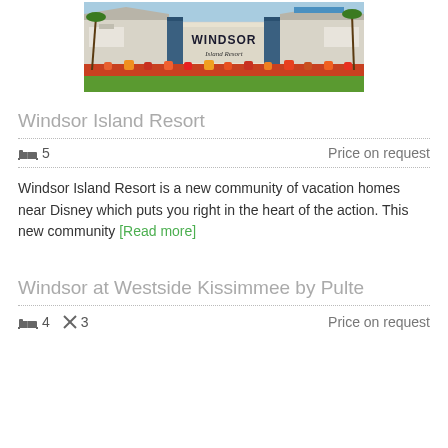[Figure (photo): Photo of Windsor Island Resort entrance sign with palm trees and colorful flowers in foreground]
Windsor Island Resort
🛏 5   Price on request
Windsor Island Resort is a new community of vacation homes near Disney which puts you right in the heart of the action. This new community [Read more]
Windsor at Westside Kissimmee by Pulte
🛏 4  🛁 3   Price on request